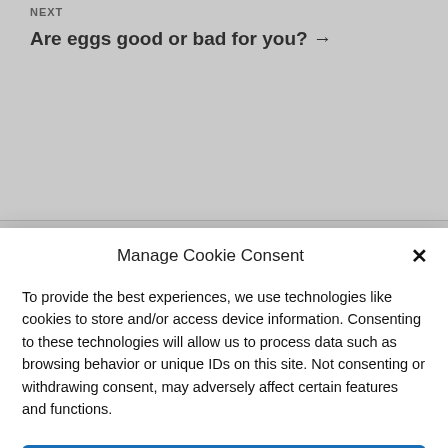NEXT
Are eggs good or bad for you? →
EXTENSION
Manage Cookie Consent
To provide the best experiences, we use technologies like cookies to store and/or access device information. Consenting to these technologies will allow us to process data such as browsing behavior or unique IDs on this site. Not consenting or withdrawing consent, may adversely affect certain features and functions.
Accept
Cookie Policy  Privacy Statement